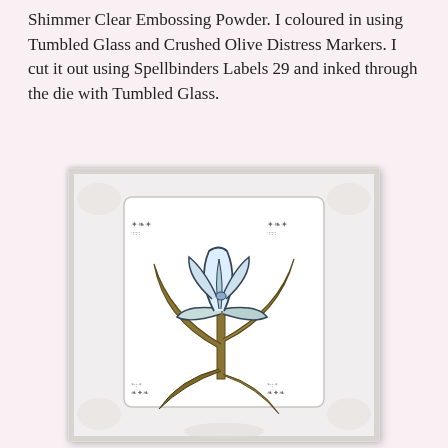Shimmer Clear Embossing Powder. I coloured in using Tumbled Glass and Crushed Olive Distress Markers. I cut it out using Spellbinders Labels 29 and inked through the die with Tumbled Glass.
[Figure (photo): A handmade card featuring a stamped and coloured iris flower in blue/white petals and olive/gold leaves and stem, on a white label shape with decorative corner flourishes, mounted on a white embossed background with floral texture.]